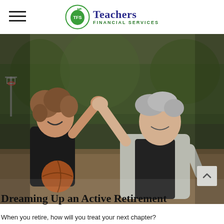Teachers Financial Services
[Figure (photo): An older man and a young child giving each other a high-five on an outdoor basketball court. The man has gray hair and wears a light gray hoodie over a dark shirt. The child has curly hair and wears a dark shirt, holding a basketball. Trees and a basketball hoop are visible in the blurred background.]
Dreaming Up an Active Retirement
When you retire, how will you treat your next chapter?